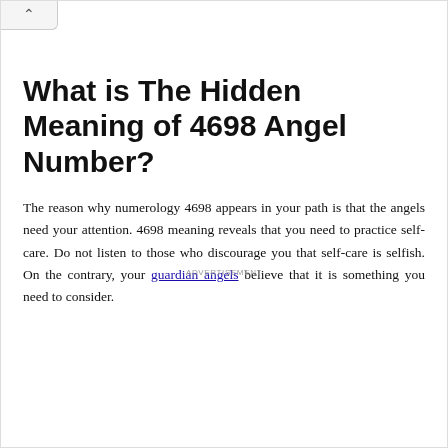What is The Hidden Meaning of 4698 Angel Number?
The reason why numerology 4698 appears in your path is that the angels need your attention. 4698 meaning reveals that you need to practice self-care. Do not listen to those who discourage you that self-care is selfish. On the contrary, your guardian angels believe that it is something you need to consider.
ADVERTISEMENT